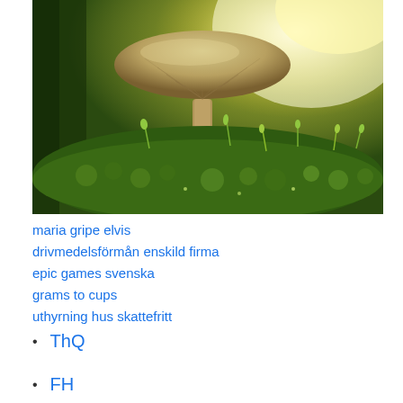[Figure (photo): Close-up macro photograph of a mushroom with a pale broad cap, backlit with warm golden light, growing among bright green moss and small sprouting plants in a forest floor setting.]
maria gripe elvis
drivmedelsförmån enskild firma
epic games svenska
grams to cups
uthyrning hus skattefritt
ThQ
FH